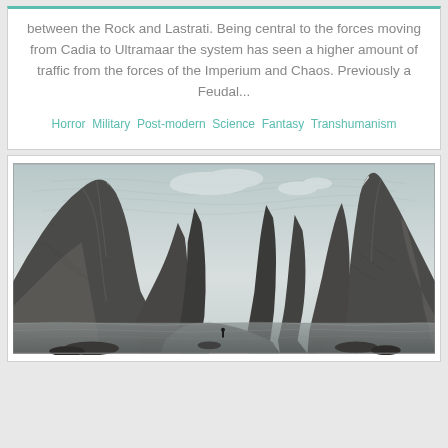between the Rock and Lastrati. Being central to the forces moving from Cadia to Ultramaar the system has seen a higher amount of traffic from the forces of the Imperium and Chaos. Previously a Feudal...
Horror Military Post-modern Science Fantasy Transhumanism
[Figure (illustration): Black and white engraving-style illustration of a dramatic mountain fjord or canyon landscape with jagged rocky peaks on both sides, calm water in the foreground, a small human figure visible at the base, and a cloudy sky above.]